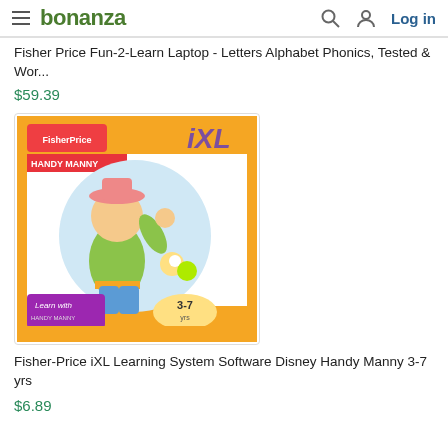bonanza | Log in
Fisher Price Fun-2-Learn Laptop - Letters Alphabet Phonics, Tested & Wor...
$59.39
[Figure (photo): Fisher-Price iXL Learning System software box for Disney Handy Manny, with orange packaging showing age range 3-7 yrs]
Fisher-Price iXL Learning System Software Disney Handy Manny 3-7 yrs
$6.89